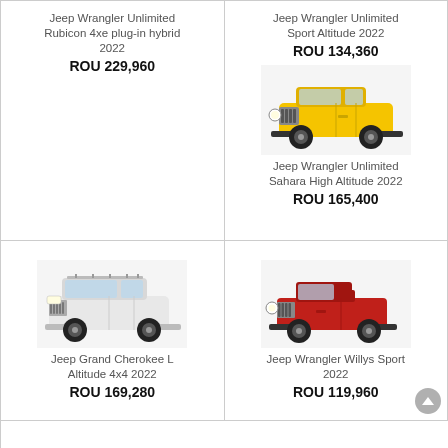Jeep Wrangler Unlimited Rubicon 4xe plug-in hybrid 2022
ROU 229,960
Jeep Wrangler Unlimited Sport Altitude 2022
ROU 134,360
[Figure (photo): Yellow Jeep Wrangler Unlimited Sahara High Altitude 2022, front 3/4 view]
Jeep Wrangler Unlimited Sahara High Altitude 2022
ROU 165,400
[Figure (photo): White Jeep Grand Cherokee L Altitude 4x4 2022, front 3/4 view]
Jeep Grand Cherokee L Altitude 4x4 2022
ROU 169,280
[Figure (photo): Red Jeep Wrangler Willys Sport 2022, front 3/4 view]
Jeep Wrangler Willys Sport 2022
ROU 119,960